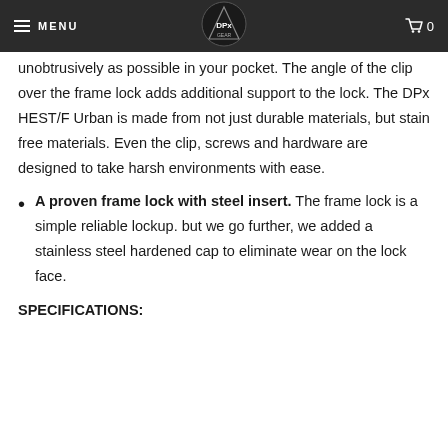MENU | DPx Gear Logo | 0
unobtrusively as possible in your pocket. The angle of the clip over the frame lock adds additional support to the lock. The DPx HEST/F Urban is made from not just durable materials, but stain free materials. Even the clip, screws and hardware are designed to take harsh environments with ease.
A proven frame lock with steel insert. The frame lock is a simple reliable lockup. but we go further, we added a stainless steel hardened cap to eliminate wear on the lock face.
SPECIFICATIONS: